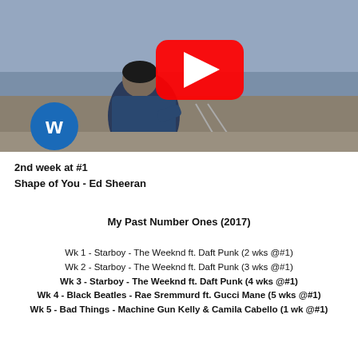[Figure (screenshot): YouTube video thumbnail showing Ed Sheeran sitting near railway tracks, with a red YouTube play button in the center and Warner Music logo (blue circle with W) in the bottom left]
2nd week at #1
Shape of You - Ed Sheeran
My Past Number Ones (2017)
Wk 1 - Starboy - The Weeknd ft. Daft Punk (2 wks @#1)
Wk 2 - Starboy - The Weeknd ft. Daft Punk (3 wks @#1)
Wk 3 - Starboy - The Weeknd ft. Daft Punk (4 wks @#1)
Wk 4 - Black Beatles - Rae Sremmurd ft. Gucci Mane (5 wks @#1)
Wk 5 - Bad Things - Machine Gun Kelly & Camila Cabello (1 wk @#1)